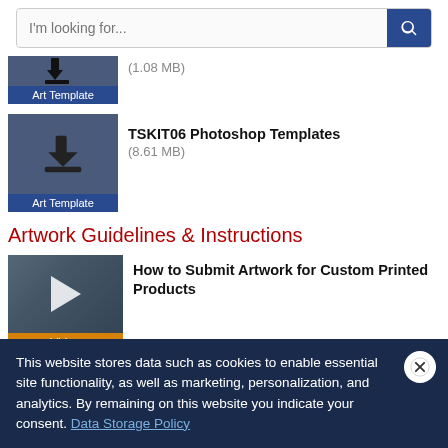[Figure (screenshot): Search bar with placeholder text 'I'm looking for...' and a blue search button]
(1.08 MB)
[Figure (other): Art Template download icon thumbnail with label 'Art Template']
TSKIT06 Photoshop Templates (8.61 MB)
[Figure (other): Art Template download icon thumbnail with label 'Art Template']
Artwork Guidelines & Instructions
How to Submit Artwork for Custom Printed Products
[Figure (other): Video thumbnail with play button and orange 'Video' label]
Accepted File Formats
This website stores data such as cookies to enable essential site functionality, as well as marketing, personalization, and analytics. By remaining on this website you indicate your consent. Data Storage Policy